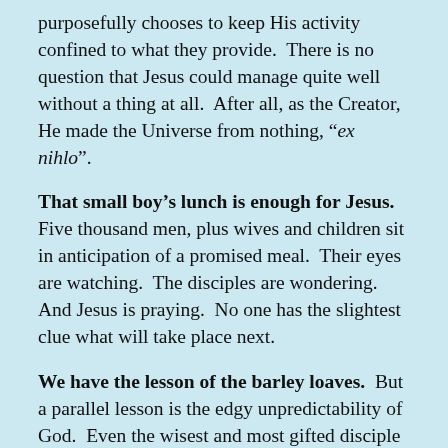purposefully chooses to keep His activity confined to what they provide.  There is no question that Jesus could manage quite well without a thing at all.  After all, as the Creator, He made the Universe from nothing, "ex nihlo".
That small boy's lunch is enough for Jesus. Five thousand men, plus wives and children sit in anticipation of a promised meal.  Their eyes are watching.  The disciples are wondering.  And Jesus is praying.  No one has the slightest clue what will take place next.
We have the lesson of the barley loaves.  But a parallel lesson is the edgy unpredictability of God.  Even the wisest and most gifted disciple is